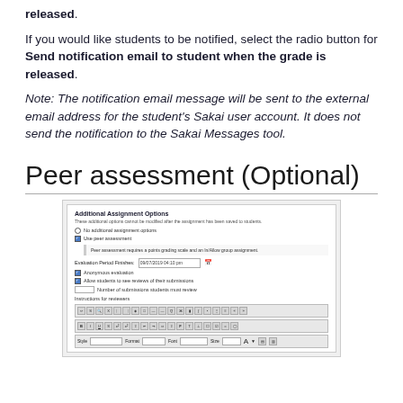released.
If you would like students to be notified, select the radio button for Send notification email to student when the grade is released.
Note: The notification email message will be sent to the external email address for the student's Sakai user account. It does not send the notification to the Sakai Messages tool.
Peer assessment (Optional)
[Figure (screenshot): Screenshot of Additional Assignment Options panel showing peer assessment settings including evaluation period, anonymous evaluation checkbox, allow students to see reviews checkbox, number of submissions to review field, and instructions for reviewers text editor toolbar.]